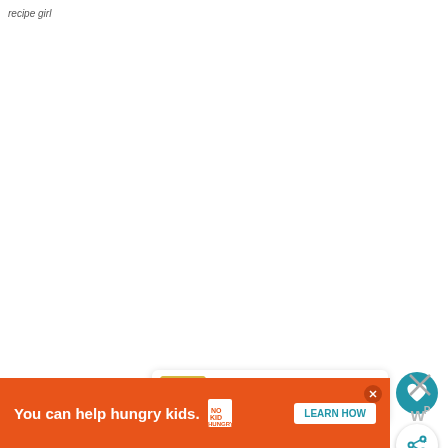recipe girl
[Figure (illustration): Heart/favorite button - teal circular button with white heart icon]
[Figure (illustration): Share button - white circular button with share/add icon]
[Figure (illustration): What's Next panel showing Sweet and Spicy Mang... with food thumbnail image]
[Figure (illustration): Author avatar/profile photo thumbnail]
By Jenn
[Figure (illustration): Advertisement banner: You can help hungry kids. No Kid Hungry. LEARN HOW]
[Figure (illustration): Close X button for right-side panel with W logo]